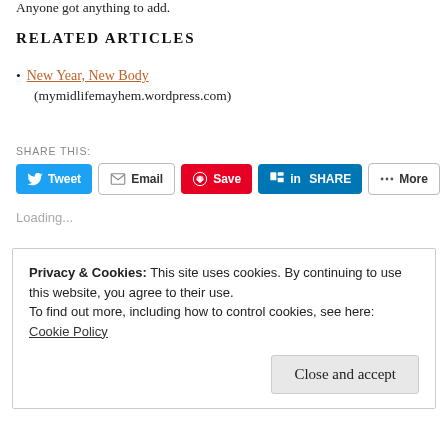Anyone got anything to add.
RELATED ARTICLES
New Year, New Body (mymidlifemayhem.wordpress.com)
SHARE THIS:
[Figure (other): Social share buttons: Tweet, Email, Save, SHARE, More]
Loading...
Privacy & Cookies: This site uses cookies. By continuing to use this website, you agree to their use.
To find out more, including how to control cookies, see here:
Cookie Policy
Close and accept